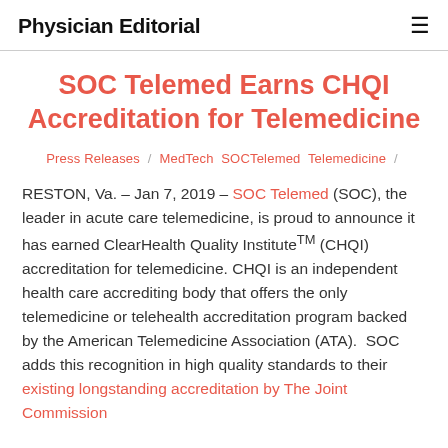Physician Editorial
SOC Telemed Earns CHQI Accreditation for Telemedicine
Press Releases / MedTech SOCTelemed Telemedicine /
RESTON, Va. – Jan 7, 2019 – SOC Telemed (SOC), the leader in acute care telemedicine, is proud to announce it has earned ClearHealth Quality Institute™ (CHQI) accreditation for telemedicine. CHQI is an independent health care accrediting body that offers the only telemedicine or telehealth accreditation program backed by the American Telemedicine Association (ATA). SOC adds this recognition in high quality standards to their existing longstanding accreditation by The Joint Commission